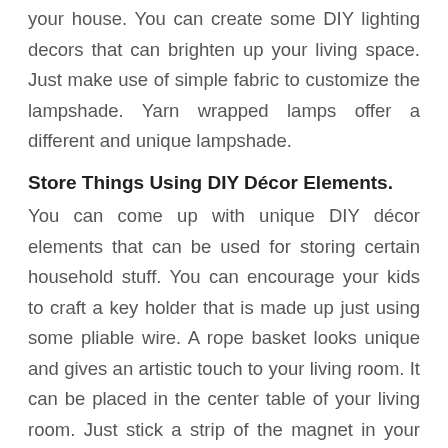your house. You can create some DIY lighting decors that can brighten up your living space. Just make use of simple fabric to customize the lampshade. Yarn wrapped lamps offer a different and unique lampshade.
Store Things Using DIY Décor Elements.
You can come up with unique DIY décor elements that can be used for storing certain household stuff. You can encourage your kids to craft a key holder that is made up just using some pliable wire. A rope basket looks unique and gives an artistic touch to your living room. It can be placed in the center table of your living room. Just stick a strip of the magnet in your kitchen wall, and you can use it as a trendy knife holder.
DIY Multipurpose Stylish Built-In Shelves
You can try out a wooden shelf in your kitchen or garage. A DIY towel holder with the old metal pipes along with the